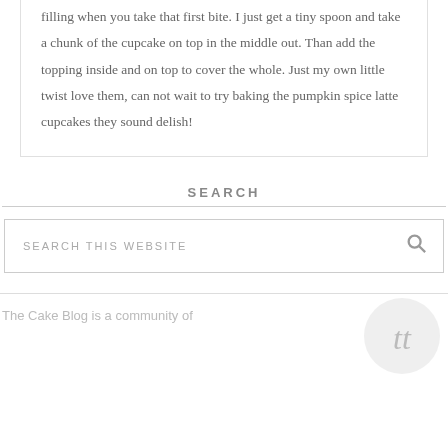filling when you take that first bite. I just get a tiny spoon and take a chunk of the cupcake on top in the middle out. Than add the topping inside and on top to cover the whole. Just my own little twist love them, can not wait to try baking the pumpkin spice latte cupcakes they sound delish!
SEARCH
SEARCH THIS WEBSITE
The Cake Blog is a community of